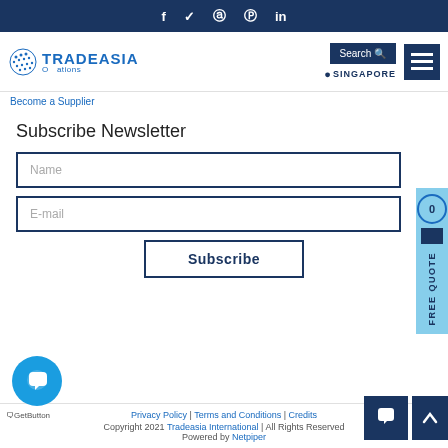f  ✓  ⊕  ⊙  in
[Figure (logo): Tradeasia International logo with globe icon, text TRADEASIA and subtitle Operations]
Become a Supplier
Subscribe Newsletter
Name
E-mail
Subscribe
Privacy Policy | Terms and Conditions | Credits
Copyright 2021 Tradeasia International | All Rights Reserved
Powered by Netpiper